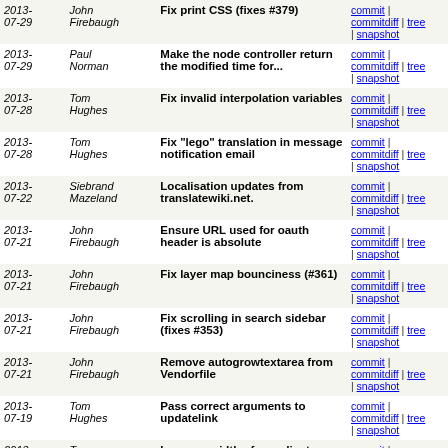| Date | Author | Message | Links |
| --- | --- | --- | --- |
| 2013-07-29 | John Firebaugh | Fix print CSS (fixes #379) | commit | commitdiff | tree | snapshot |
| 2013-07-29 | Paul Norman | Make the node controller return the modified time for... | commit | commitdiff | tree | snapshot |
| 2013-07-28 | Tom Hughes | Fix invalid interpolation variables | commit | commitdiff | tree | snapshot |
| 2013-07-28 | Tom Hughes | Fix "lego" translation in message notification email | commit | commitdiff | tree | snapshot |
| 2013-07-22 | Siebrand Mazeland | Localisation updates from translatewiki.net. | commit | commitdiff | tree | snapshot |
| 2013-07-21 | John Firebaugh | Ensure URL used for oauth header is absolute | commit | commitdiff | tree | snapshot |
| 2013-07-21 | John Firebaugh | Fix layer map bounciness (#361) | commit | commitdiff | tree | snapshot |
| 2013-07-21 | John Firebaugh | Fix scrolling in search sidebar (fixes #353) | commit | commitdiff | tree | snapshot |
| 2013-07-21 | John Firebaugh | Remove autogrowtextarea from Vendorfile | commit | commitdiff | tree | snapshot |
| 2013-07-19 | Tom Hughes | Pass correct arguments to updatelink | commit | commitdiff | tree | snapshot |
| 2013-07-19 | Tom Hughes | Increase width of coordinate fields in export panel | commit | commitdiff | tree | snapshot |
| 2013-07-19 | Tom Hughes | Don't try and look at params.layers when it isn't set | commit | commitdiff | tree | snapshot |
| 2013-07-19 | Tom Hughes | Merge remote-tracking branch 'osmlab/map-ui' | commit | commitdiff | tree | snapshot |
| 2013-07- | Tom | Replace `nothing => true` with | commit | |